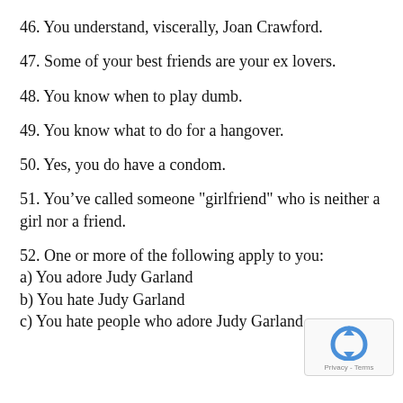46. You understand, viscerally, Joan Crawford.
47. Some of your best friends are your ex lovers.
48. You know when to play dumb.
49. You know what to do for a hangover.
50. Yes, you do have a condom.
51. You've called someone "girlfriend" who is neither a girl nor a friend.
52. One or more of the following apply to you:
a) You adore Judy Garland
b) You hate Judy Garland
c) You hate people who adore Judy Garland